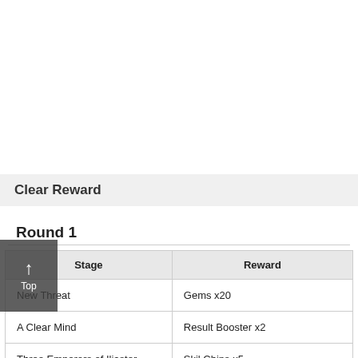Clear Reward
Round 1
| Stage | Reward |
| --- | --- |
| New Threat | Gems x20 |
| A Clear Mind | Result Booster x2 |
| Three Emperors of Iliaster | Skil Chips x5 |